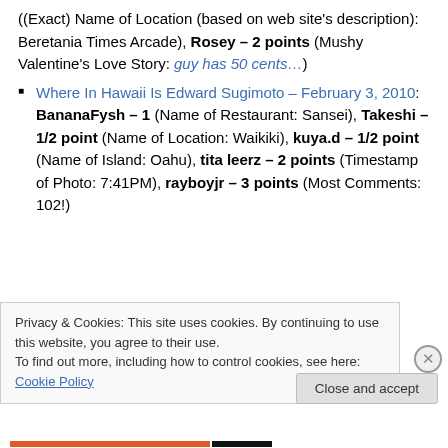((Exact) Name of Location (based on web site's description): Beretania Times Arcade), Rosey – 2 points (Mushy Valentine's Love Story: guy has 50 cents…)
Where In Hawaii Is Edward Sugimoto – February 3, 2010: BananaFysh – 1 (Name of Restaurant: Sansei), Takeshi – 1/2 point (Name of Location: Waikiki), kuya.d – 1/2 point (Name of Island: Oahu), tita leerz – 2 points (Timestamp of Photo: 7:41PM), rayboyjr – 3 points (Most Comments: 102!)
Where In Hawaii Is Edward Sugimoto – January 27...
Privacy & Cookies: This site uses cookies. By continuing to use this website, you agree to their use.
To find out more, including how to control cookies, see here: Cookie Policy